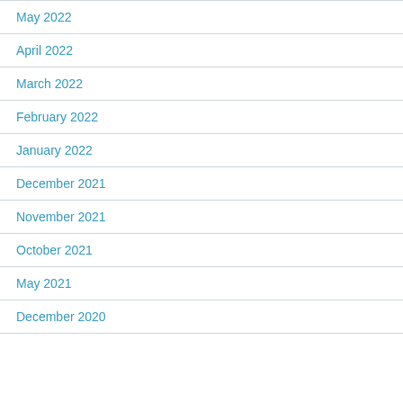May 2022
April 2022
March 2022
February 2022
January 2022
December 2021
November 2021
October 2021
May 2021
December 2020